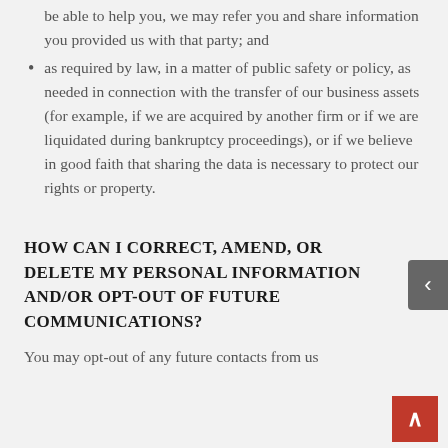be able to help you, we may refer you and share information you provided us with that party; and
as required by law, in a matter of public safety or policy, as needed in connection with the transfer of our business assets (for example, if we are acquired by another firm or if we are liquidated during bankruptcy proceedings), or if we believe in good faith that sharing the data is necessary to protect our rights or property.
How can I correct, amend, or delete my personal information and/or opt-out of future communications?
You may opt-out of any future contacts from us